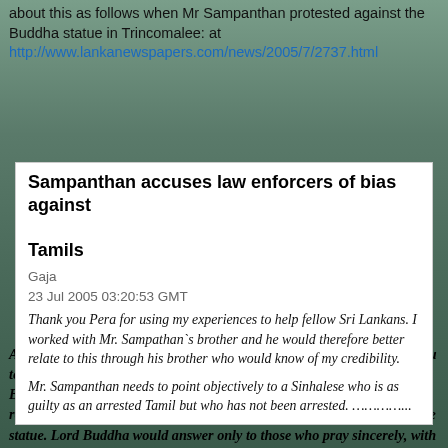about this as follows when Mr Sampanthan protested against the Buddha statue in Trincomalee: at http://www.lankanewspapers.com/news/2005/7/2737.html
Sampanthan accuses law enforcers of bias against Tamils
Gaja
23 Jul 2005 03:20:53 GMT
Thank you Pera for using my experiences to help fellow Sri Lankans. I worked with Mr. Sampathan`s brother and he would therefore better relate to this through his brother who would know of my credibility.
Mr. Sampanthan needs to point objectively to a Sinhalese who is as guilty as an arrested Tamil but who has not been arrested. ………….
As for the Buddha statue I did find a similar temple in front of the Hindu temple on the sacred Hill at Kataragama, an act of violence. If the Buddha statue was placed to obstruct a physical identity of another religion, it is wrong. Otherwise, the government has the right to place the statue. Lord Buddha would answer only to those who pray sincerely, with or without a statue. If through this statue, the government violates the rights of sincere devotees of other religions those who invest in this place of worship would have their